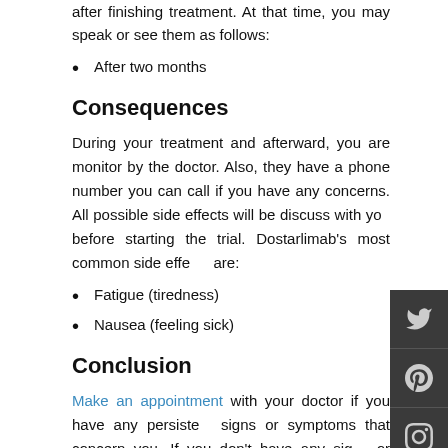after finishing treatment. At that time, you may speak or see them as follows:
After two months
Consequences
During your treatment and afterward, you are monitor by the doctor. Also, they have a phone number you can call if you have any concerns. All possible side effects will be discuss with you before starting the trial. Dostarlimab's most common side effects are:
Fatigue (tiredness)
Nausea (feeling sick)
Conclusion
Make an appointment with your doctor if you have any persistent signs or symptoms that concern you. If you don't have any signs or symptoms, but are worry about your risk of cancer, discuss your concerns at Best Lung Cancer Treatment In India.
Hence, call us Tel: +0141-2235005 or Mob: +91-93529 345315 and get more information about What is Dostarlimab Cancer Cure?